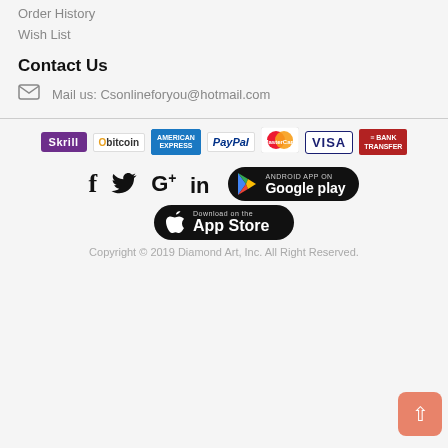Order History
Wish List
Contact Us
Mail us: Csonlineforyou@hotmail.com
[Figure (logo): Payment method logos: Skrill, Obitcoin, American Express, PayPal, MasterCard, VISA, Bank Transfer]
[Figure (infographic): Social media icons (Facebook, Twitter, Google+, LinkedIn) and app store buttons (Google Play, App Store)]
Copyright © 2019 Diamond Art, Inc. All Right Reserved.